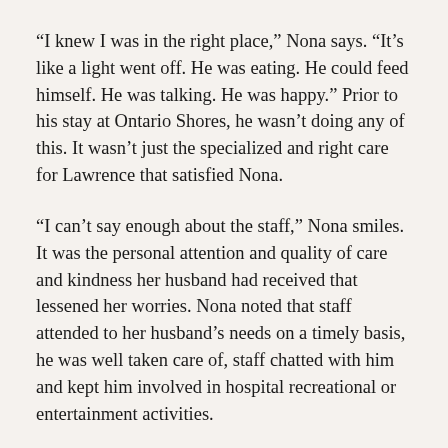“I knew I was in the right place,” Nona says. “It’s like a light went off. He was eating. He could feed himself. He was talking. He was happy.” Prior to his stay at Ontario Shores, he wasn’t doing any of this. It wasn’t just the specialized and right care for Lawrence that satisfied Nona.
“I can’t say enough about the staff,” Nona smiles. It was the personal attention and quality of care and kindness her husband had received that lessened her worries. Nona noted that staff attended to her husband’s needs on a timely basis, he was well taken care of, staff chatted with him and kept him involved in hospital recreational or entertainment activities.